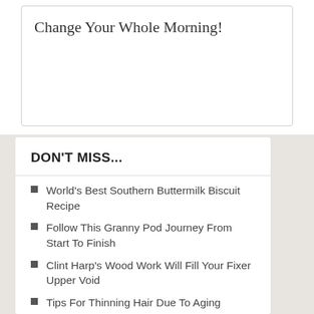Change Your Whole Morning!
DON'T MISS...
World's Best Southern Buttermilk Biscuit Recipe
Follow This Granny Pod Journey From Start To Finish
Clint Harp's Wood Work Will Fill Your Fixer Upper Void
Tips For Thinning Hair Due To Aging
Trisha Yearwood's Chili Mac and